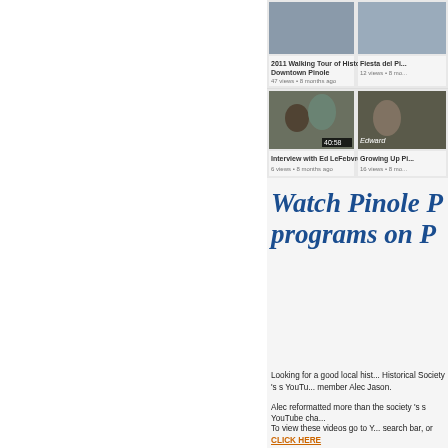[Figure (screenshot): Screenshot of a YouTube-style video grid showing four video thumbnails: '2011 Walking Tour of Historic Downtown Pinole' (47 views, 8 months ago), 'Fiesta del Pi...' (12 views, 8 months ago), 'Interview with Ed LeFebvre' (6 views, 8 months ago), 'Growing Up Pi...' (16 views, 8 months ago)]
Watch Pinole P... programs on P...
Looking for a good local hist... Historical Society 's s YouTu... member Alec Jason.
Alec reformatted more than ... the society 's s YouTube cha...
To view these videos go to Y... search bar, or CLICK HERE
Among the most recent add... Woldemar did for the society... his long career, including the... Donat Plaza, Crockette Pr...